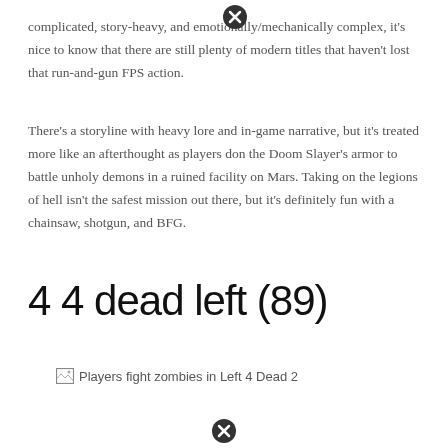complicated, story-heavy, and emotionally/mechanically complex, it's nice to know that there are still plenty of modern titles that haven't lost that run-and-gun FPS action.
There's a storyline with heavy lore and in-game narrative, but it's treated more like an afterthought as players don the Doom Slayer's armor to battle unholy demons in a ruined facility on Mars. Taking on the legions of hell isn't the safest mission out there, but it's definitely fun with a chainsaw, shotgun, and BFG.
4 4 dead left (89)
[Figure (photo): Broken image placeholder with alt text: Players fight zombies in Left 4 Dead 2]